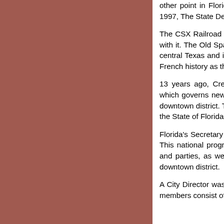other point in Florida at 235 feet, and at 65 inches, it receives the most annual rainfall as well. In 1997, The State Department of Florida named Crestview a "Main Street City."
The CSX Railroad extends into Crestview, along with the historic Old Spanish Trail that runs parallel with it. The Old Spanish Trail stretches from Jacksonville, on the east coast of Florida, to El Paso, in central Texas and is nearly as long as Interstate 10. The Trail is full of Spanish, English, Indian, and French history as those settlers travelled the Trail extensively.
13 years ago, Crestview officially implemented the Community Redevelopment Agency Concept, which governs new development and continued redevelopment in the vicinity of Crestview's historic downtown district. The agency instituted a plan for community redevelopment which was approved by the State of Florida's Community Affairs Department.
Florida's Secretary of State approved Crestview's request to be named a "Main Street City" in 1997. This national program strives to schedule and promote local events like town gatherings, festivals, and parties, as well as cultural and historical events to help enliven redevelopment of Crestview's downtown district.
A City Director was appointed in 1998 who helped establish Crestview's Main Street Association. Its members consist of businesses, townspeople, and others who wish to help enhance downtown